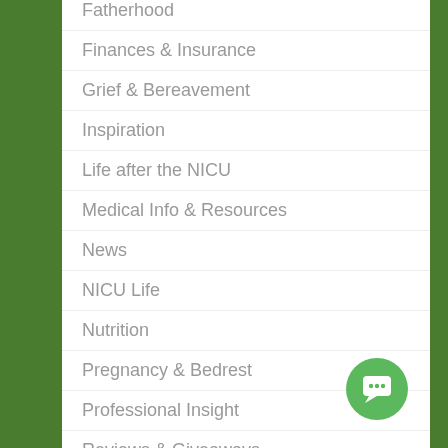Fatherhood
Finances & Insurance
Grief & Bereavement
Inspiration
Life after the NICU
Medical Info & Resources
News
NICU Life
Nutrition
Pregnancy & Bedrest
Professional Insight
Reviews & Giveaways
Siblings
Archives